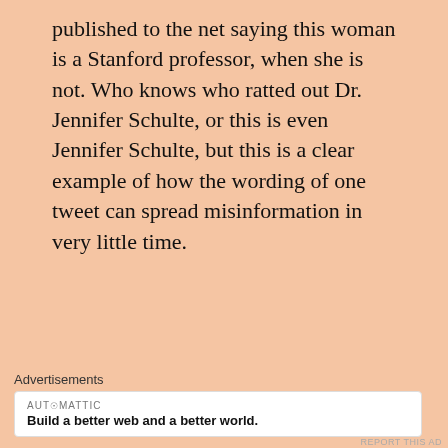published to the net saying this woman is a Stanford professor, when she is not. Who knows who ratted out Dr. Jennifer Schulte, or this is even Jennifer Schulte, but this is a clear example of how the wording of one tweet can spread misinformation in very little time.
[Figure (screenshot): Screenshot of a NewsOne tweet from May 15, 2018 by @newsone stating 'Allegedly, her name is Dr. Jennifer Schulte and she is a faculty member at @Stanford University.' with a link preview to newsone.com showing 'Report: Identity Of White']
Advertisements
AUTOMATTIC
Build a better web and a better world.